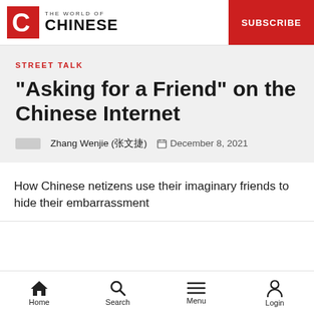THE WORLD OF CHINESE | SUBSCRIBE
STREET TALK
“Asking for a Friend” on the Chinese Internet
Zhang Wenjie (张文杰) December 8, 2021
How Chinese netizens use their imaginary friends to hide their embarrassment
Home Search Menu Login